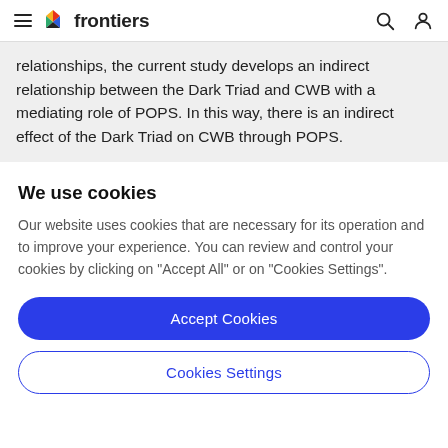frontiers
relationships, the current study develops an indirect relationship between the Dark Triad and CWB with a mediating role of POPS. In this way, there is an indirect effect of the Dark Triad on CWB through POPS.
We use cookies
Our website uses cookies that are necessary for its operation and to improve your experience. You can review and control your cookies by clicking on "Accept All" or on "Cookies Settings".
Accept Cookies
Cookies Settings